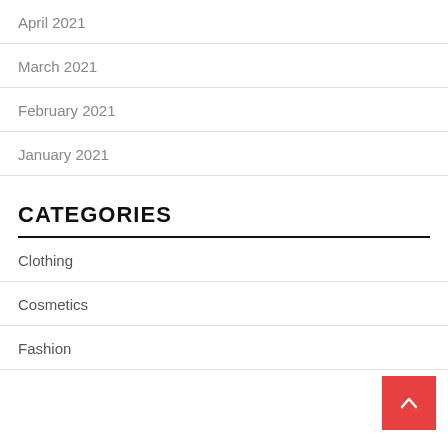April 2021
March 2021
February 2021
January 2021
CATEGORIES
Clothing
Cosmetics
Fashion